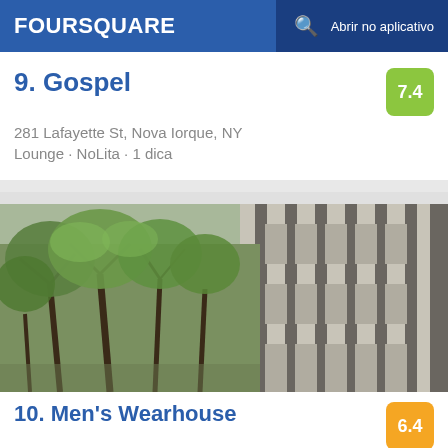FOURSQUARE   Abrir no aplicativo
9. Gospel
281 Lafayette St, Nova Iorque, NY
Lounge · NoLita · 1 dica
Score: 7.4
[Figure (photo): Outdoor photo of trees with green foliage in the foreground and a large concrete/brutalist building facade with vertical columns in the background.]
10. Men's Wearhouse
135 W 50th St, Nova Iorque, NY
Loja Masculina · Theater District · 2 dicas e avaliações
Score: 6.4